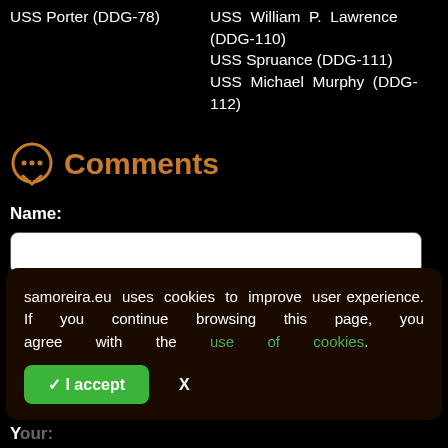USS Porter (DDG-78)
USS William P. Lawrence (DDG-110)
USS Spruance (DDG-111)
USS Michael Murphy (DDG-112)
Comments
Name:
C...
samoreira.eu uses cookies to improve user experience. If you continue browsing this page, you agree with the use of cookies.
✓ I accept
X